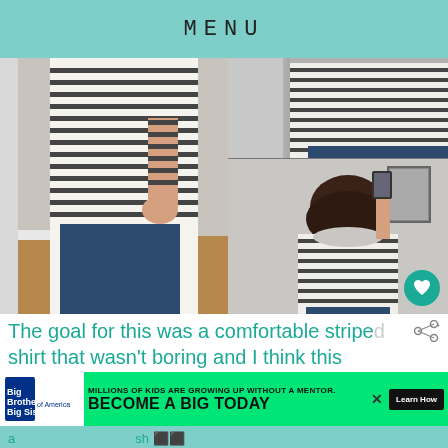MENU
[Figure (photo): Woman wearing a white and black striped long-sleeve shirt with dark jeans, shown from multiple angles: front-left full body, back view taking mirror selfie, and top-right partial view.]
The goal for this was a comfortable striped shirt that wasn't boring and I think this
MILLIONS OF KIDS ARE GROWING UP WITHOUT A MENTOR. BECOME A BIG TODAY
Learn How